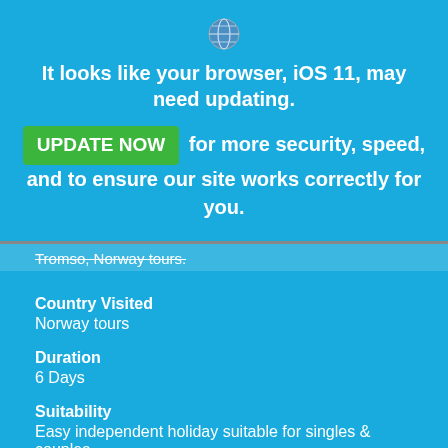[Figure (screenshot): Browser icon (shield/globe)]
It looks like your browser, iOS 11, may need updating.
UPDATE NOW  for more security, speed, and to ensure our site works correctly for you.
Tromso, Norway tours.
Country Visited
Norway tours
Duration
6 Days
Suitability
Easy independent holiday suitable for singles & couples
Code
TOH002